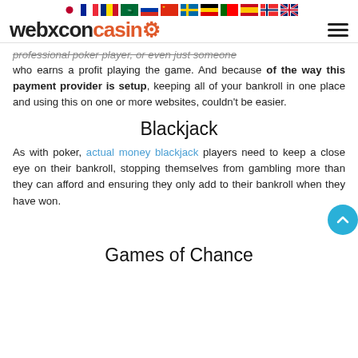webxconcasino [logo with flag icons and hamburger menu]
professional poker player, or even just someone who earns a profit playing the game. And because of the way this payment provider is setup, keeping all of your bankroll in one place and using this on one or more websites, couldn't be easier.
Blackjack
As with poker, actual money blackjack players need to keep a close eye on their bankroll, stopping themselves from gambling more than they can afford and ensuring they only add to their bankroll when they have won.
Games of Chance